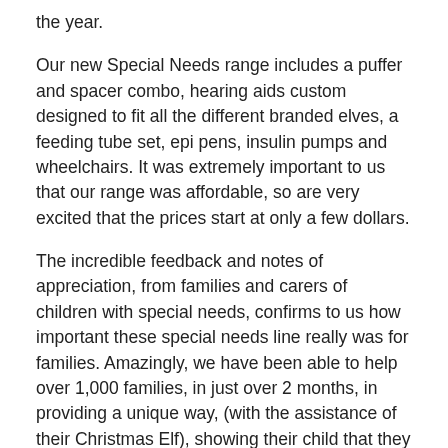the year.
Our new Special Needs range includes a puffer and spacer combo, hearing aids custom designed to fit all the different branded elves, a feeding tube set, epi pens, insulin pumps and wheelchairs. It was extremely important to us that our range was affordable, so are very excited that the prices start at only a few dollars.
The incredible feedback and notes of appreciation, from families and carers of children with special needs, confirms to us how important these special needs line really was for families. Amazingly, we have been able to help over 1,000 families, in just over 2 months, in providing a unique way, (with the assistance of their Christmas Elf), showing their child that they are not alone and that it is OK to need different types of medical equipment to assist them in their daily lives.
We are already hard at work designing to expanding our range to include more props and accessories that relate to other special needs, for our relaunch on September